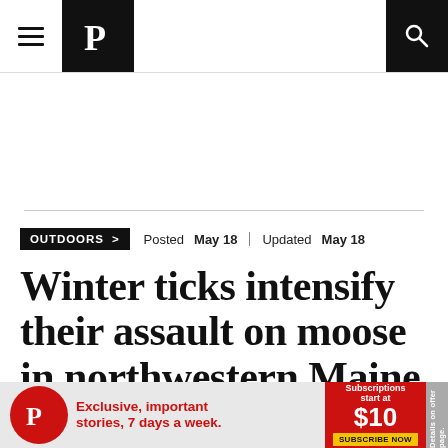Portland Press Herald navigation bar with hamburger menu, logo, and search icon
OUTDOORS >   Posted May 18 | Updated May 18
Winter ticks intensify their assault on moose in northwestern Maine
…io-collar study conducted by state biologists this winter showed 86 percent calf
[Figure (other): Advertisement banner: Portland Press Herald subscription ad — 'Exclusive, important stories, 7 days a week.' Subscriptions start at $10. Subscribe Now.]